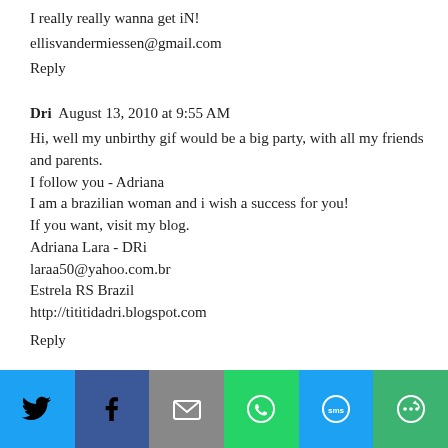I really really wanna get iN!
ellisvandermiessen@gmail.com
Reply
Dri  August 13, 2010 at 9:55 AM
Hi, well my unbirthy gif would be a big party, with all my friends and parents.
I follow you - Adriana
I am a brazilian woman and i wish a success for you!
If you want, visit my blog.
Adriana Lara - DRi
laraa50@yahoo.com.br
Estrela RS Brazil
http://tititidadri.blogspot.com
Reply
[Figure (infographic): Social media sharing bar with icons for Twitter (blue), Facebook (dark blue), Email (gray), WhatsApp (green), SMS (blue), and More (green)]